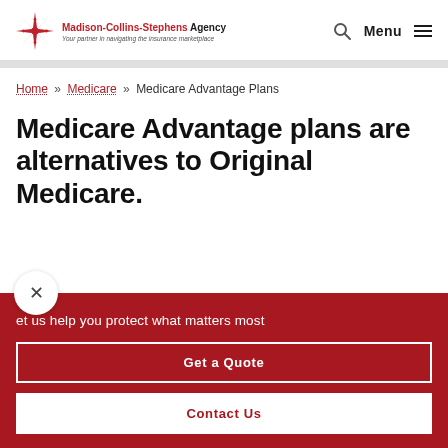[Figure (logo): Madison-Collins-Stephens Agency logo with red starburst/compass rose icon and tagline 'Your partner in navigating the insurance marketplace']
Menu (hamburger icon) and search icon in top navigation bar
Home » Medicare » Medicare Advantage Plans
Medicare Advantage plans are alternatives to Original Medicare.
et us help you protect what matters most
Get a Quote
Contact Us